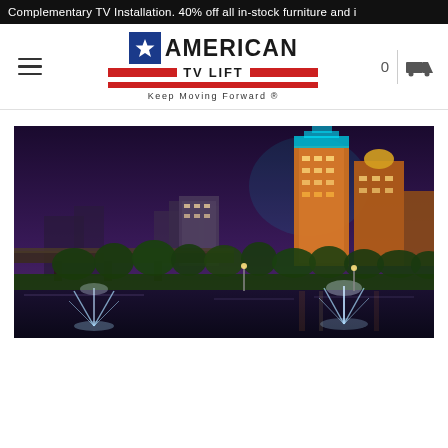Complementary TV Installation. 40% off all in-stock furniture and i
[Figure (logo): American TV Lift logo with blue star box, bold AMERICAN text, TV LIFT text flanked by red bars, a full red bar, and tagline Keep Moving Forward.]
[Figure (photo): Night cityscape of Tulsa, Oklahoma skyline with illuminated skyscrapers, a highway bridge, green trees, a river, and water fountains in the foreground against a purple-blue night sky.]